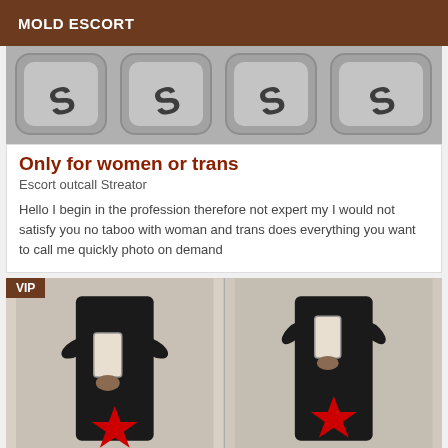MOLD ESCORT
[Figure (photo): Tiled pattern of grey and black graphic shapes resembling stylized text or logo tiles]
Only for women or trans
Escort outcall Streator
Hello I begin in the profession therefore not expert my I would not satisfy you no taboo with woman and trans does everything you want to call me quickly photo on demand
[Figure (photo): Two side-by-side mirror selfie photos of a person in a black outfit with red star censoring, VIP badge in top-left corner]